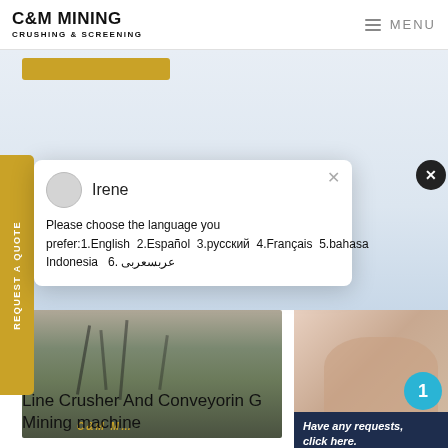C&M MINING CRUSHING & SCREENING | MENU
[Figure (screenshot): Gold/yellow call-to-action button strip near top of page]
[Figure (screenshot): Background area showing light blue/grey mining landscape]
REQUEST A QUOTE (vertical sidebar, gold background)
Irene
Please choose the language you prefer:1.English  2.Español  3.русский  4.Français  5.bahasa Indonesia   6. عربسعربى
[Figure (photo): Mining crusher and conveyor machinery at a quarry site with stone piles; C&M M… text overlay in gold]
[Figure (photo): Female customer service agent wearing headset, smiling]
Have any requests, click here.
Quotation
Line Crusher And Conveyorin G Mining machine